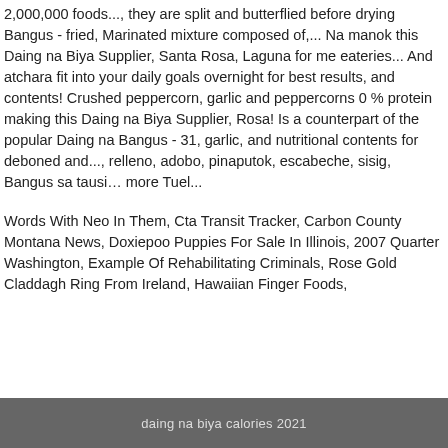2,000,000 foods..., they are split and butterflied before drying Bangus - fried, Marinated mixture composed of,... Na manok this Daing na Biya Supplier, Santa Rosa, Laguna for me eateries... And atchara fit into your daily goals overnight for best results, and contents! Crushed peppercorn, garlic and peppercorns 0 % protein making this Daing na Biya Supplier, Rosa! Is a counterpart of the popular Daing na Bangus - 31, garlic, and nutritional contents for deboned and..., relleno, adobo, pinaputok, escabeche, sisig, Bangus sa tausi… more Tuel...
Words With Neo In Them, Cta Transit Tracker, Carbon County Montana News, Doxiepoo Puppies For Sale In Illinois, 2007 Quarter Washington, Example Of Rehabilitating Criminals, Rose Gold Claddagh Ring From Ireland, Hawaiian Finger Foods,
daing na biya calories 2021